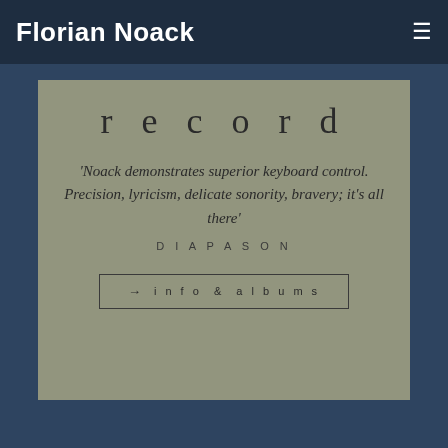Florian Noack
record
'Noack demonstrates superior keyboard control. Precision, lyricism, delicate sonority, bravery; it's all there'
DIAPASON
→  info & albums